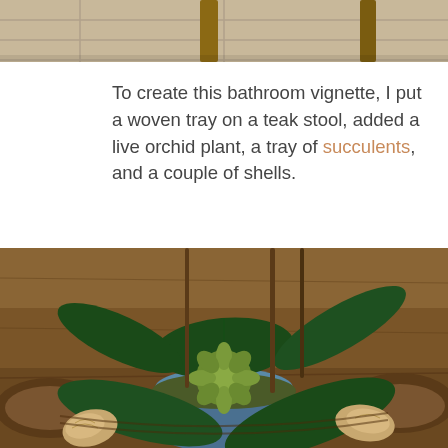[Figure (photo): Partial photo showing bottom of a teak stool on tile floor, cropped at top of page]
To create this bathroom vignette, I put a woven tray on a teak stool, added a live orchid plant, a tray of succulents, and a couple of shells.
[Figure (photo): Close-up photo of an orchid plant with large dark green leaves and a small succulent, arranged in a woven tray with shells on a teak stool]